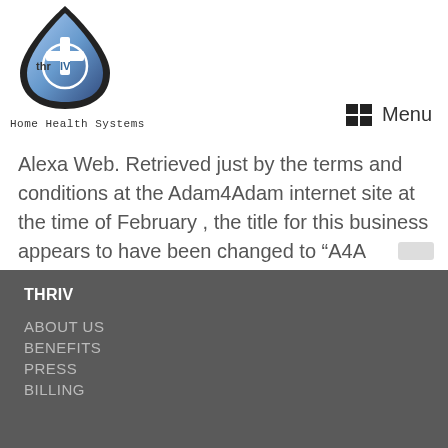[Figure (logo): thrIV Home Health Systems logo — a blue teardrop shape with a white plus/cross symbol and the text 'thrIV' inside]
Home Health Systems  Menu
Alexa Web. Retrieved just by the terms and conditions at the Adam4Adam internet site at the time of February , the title for this business appears to have been changed to “A4A Network Inc.
THRIV
ABOUT US
BENEFITS
PRESS
BILLING